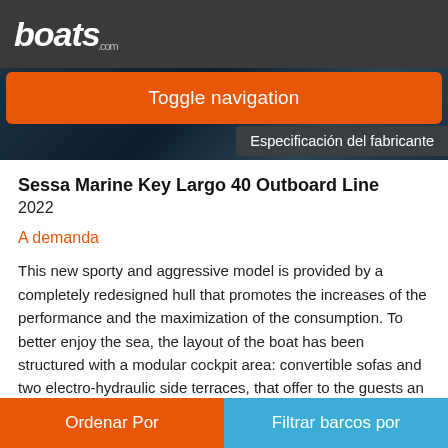boats.com
Toggle navigation
Especificación del fabricante
Sessa Marine Key Largo 40 Outboard Line
2022
A demanda
This new sporty and aggressive model is provided by a completely redesigned hull that promotes the increases of the performance and the maximization of the consumption. To better enjoy the sea, the layout of the boat has been structured with a modular cockpit area: convertible sofas and two electro-hydraulic side terraces, that offer to the guests an even larger an
Más
Ordenar Por | Filtrar barcos por